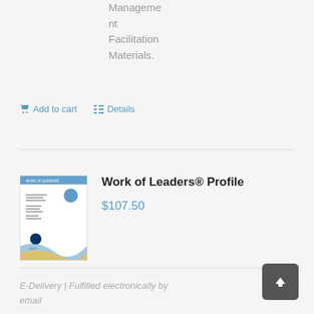DiSC Management Facilitation Materials.
Add to cart   Details
[Figure (illustration): Book cover of Work of Leaders Profile, white cover with blue and yellow wave design and small logo]
Work of Leaders® Profile
$107.50
E-Delivery | Fulfilled electronically by email